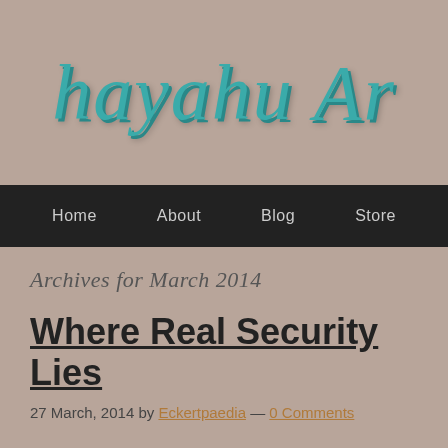hayahu Ar
Home  About  Blog  Store
Archives for March 2014
Where Real Security Lies
27 March, 2014 by Eckertpaedia — 0 Comments